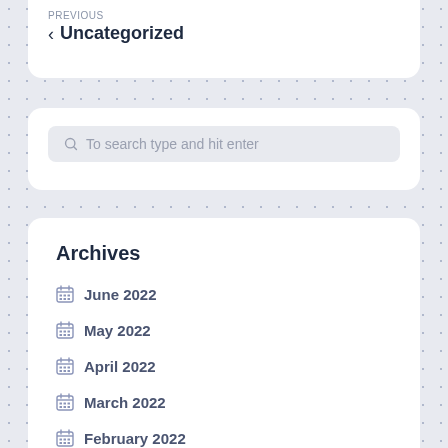PREVIOUS
Uncategorized
To search type and hit enter
Archives
June 2022
May 2022
April 2022
March 2022
February 2022